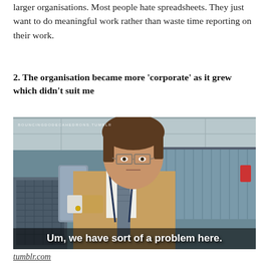larger organisations. Most people hate spreadsheets. They just want to do meaningful work rather than waste time reporting on their work.
2. The organisation became more ‘corporate’ as it grew which didn’t suit me
[Figure (photo): Movie still from Office Space showing a man in a shirt and tie with suspenders leaning on a cubicle wall with a serious expression. Watermark reads BOUNCINGDODECAHEDRONS.TUMBLR. Subtitle text reads: Um, we have sort of a problem here.]
tumblr.com